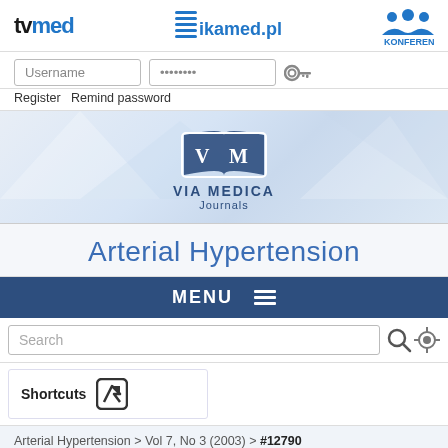[Figure (logo): Top navigation bar with tvmed logo, ikamed.pl logo, and KONFERENCJE logo]
[Figure (screenshot): Username and Password login input fields with key icon]
Register  Remind password
[Figure (logo): VIA MEDICA Journals logo - open book with V M letters]
Arterial Hypertension
[Figure (screenshot): MENU navigation bar (dark blue)]
[Figure (screenshot): Search input field with search and settings icons]
[Figure (screenshot): Shortcuts button with arrow icon]
Arterial Hypertension > Vol 7, No 3 (2003) > #12790